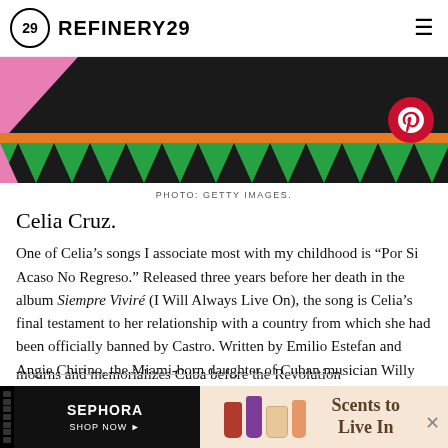REFINERY29
[Figure (photo): Hero image of Celia Cruz with pink and green geometric decorations and orange bar, Pinterest share button overlay]
PHOTO: GETTY IMAGES.
Celia Cruz.
One of Celia's songs I associate most with my childhood is "Por Si Acaso No Regreso." Released three years before her death in the album Siempre Viviré (I Will Always Live On), the song is Celia's final testament to her relationship with a country from which she had been officially banned by Castro. Written by Emilio Estefan and Angie Chirino, the Miami-born daughter of Cuban musician Willy Chirino, the song... that mourns and memorializes Cuba before the Revolution
[Figure (advertisement): Sephora advertisement banner - Scents to Live In]